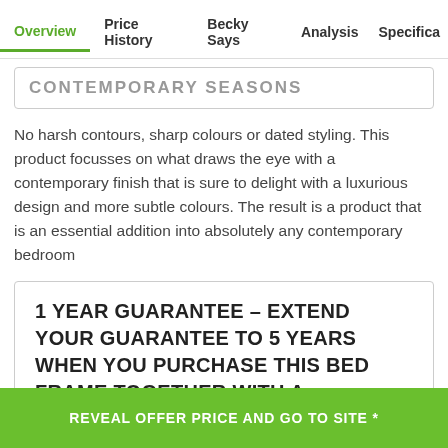Overview | Price History | Becky Says | Analysis | Specifica
No harsh contours, sharp colours or dated styling. This product focusses on what draws the eye with a contemporary finish that is sure to delight with a luxurious design and more subtle colours. The result is a product that is an essential addition into absolutely any contemporary bedroom
1 YEAR GUARANTEE – EXTEND YOUR GUARANTEE TO 5 YEARS WHEN YOU PURCHASE THIS BED FRAME TOGETHER WITH A MATTRESS FROM BENSONS FOR
REVEAL OFFER PRICE AND GO TO SITE *